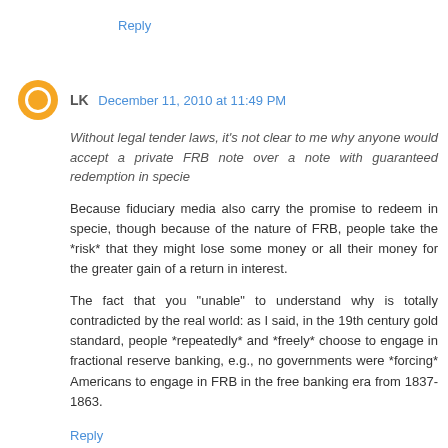Reply
LK  December 11, 2010 at 11:49 PM
Without legal tender laws, it's not clear to me why anyone would accept a private FRB note over a note with guaranteed redemption in specie
Because fiduciary media also carry the promise to redeem in specie, though because of the nature of FRB, people take the *risk* that they might lose some money or all their money for the greater gain of a return in interest.
The fact that you "unable" to understand why is totally contradicted by the real world: as I said, in the 19th century gold standard, people *repeatedly* and *freely* choose to engage in fractional reserve banking, e.g., no governments were *forcing* Americans to engage in FRB in the free banking era from 1837-1863.
Reply